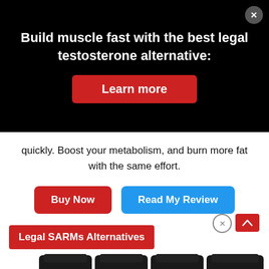Build muscle fast with the best legal testosterone alternative:
Learn more
quickly. Boost your metabolism, and burn more fat with the same effort.
Buy Now
Read My Review
Legal SARMs Alternatives
[Figure (photo): Four black CrazyBulk supplement bottles labeled OSTA 2866, LIGAN 4033, TESTOL 140, 677, arranged side by side with reflections below.]